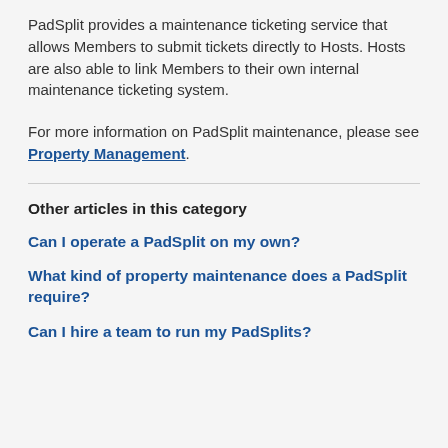PadSplit provides a maintenance ticketing service that allows Members to submit tickets directly to Hosts. Hosts are also able to link Members to their own internal maintenance ticketing system.
For more information on PadSplit maintenance, please see Property Management.
Other articles in this category
Can I operate a PadSplit on my own?
What kind of property maintenance does a PadSplit require?
Can I hire a team to run my PadSplits?